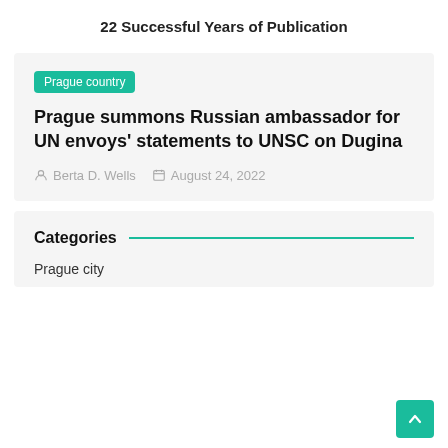22 Successful Years of Publication
Prague country
Prague summons Russian ambassador for UN envoys' statements to UNSC on Dugina
Berta D. Wells   August 24, 2022
Categories
Prague city